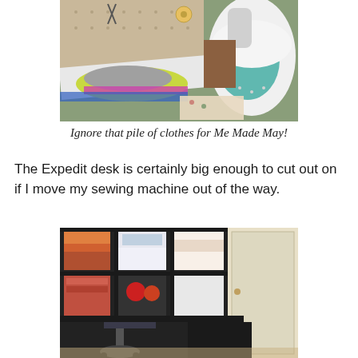[Figure (photo): Photo of an ironing board with a pile of colorful clothes and a steam iron in the foreground, pegboard with tools in the background]
Ignore that pile of clothes for Me Made May!
The Expedit desk is certainly big enough to cut out on if I move my sewing machine out of the way.
[Figure (photo): Photo of a large black Expedit desk with a chair in front and shelving unit filled with fabric and supplies in the background]